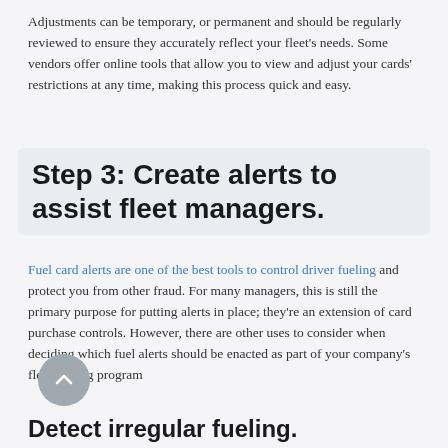Adjustments can be temporary, or permanent and should be regularly reviewed to ensure they accurately reflect your fleet's needs. Some vendors offer online tools that allow you to view and adjust your cards' restrictions at any time, making this process quick and easy.
Step 3: Create alerts to assist fleet managers.
Fuel card alerts are one of the best tools to control driver fueling and protect you from other fraud. For many managers, this is still the primary purpose for putting alerts in place; they're an extension of card purchase controls. However, there are other uses to consider when deciding which fuel alerts should be enacted as part of your company's fleet fueling program
Detect irregular fueling.